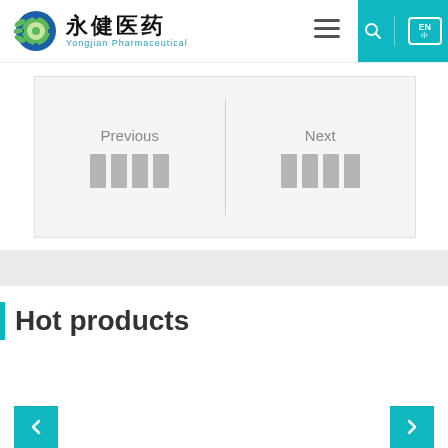[Figure (logo): Yongjian Pharmaceutical logo with circular gear/leaf icon in blue and green, Chinese characters 永健医药 and English text Yongjian Pharmaceutical]
[Figure (infographic): Navigation box with Previous and Next labels, each with four gray rectangular blocks below, separated by a vertical divider line]
Hot products
[Figure (infographic): Left and right teal navigation arrow buttons at the bottom of the page]